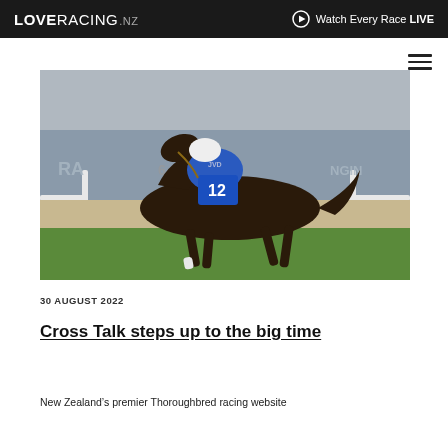LOVERACING.NZ   Watch Every Race LIVE
[Figure (photo): A dark bay racehorse wearing number 12 saddlecloth, ridden by a jockey in white and blue silks, galloping at full stride on a racetrack with white rails and advertising boards visible in the background.]
30 AUGUST 2022
Cross Talk steps up to the big time
New Zealand's premier Thoroughbred racing website